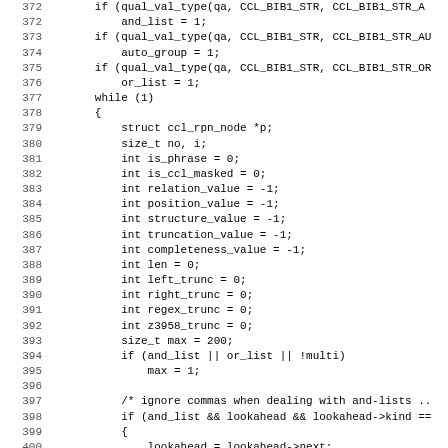[Figure (screenshot): Source code listing in monospace font showing C code lines 372-403, with line numbers on the left and code on the right. The code shows CCL query processing logic including while loop, variable declarations, and conditional checks.]